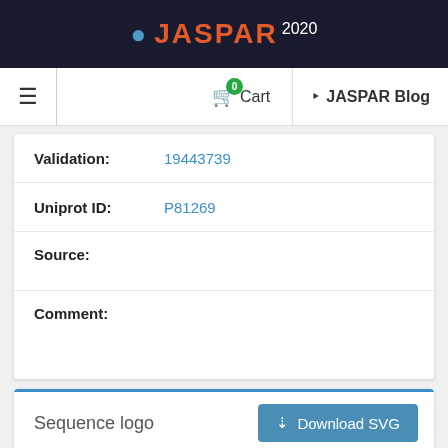JASPAR 2020
Cart  JASPAR Blog
Validation: 19443739
Uniprot ID: P81269
Source:
Comment:
Sequence logo
[Figure (other): Sequence logo chart showing nucleotide bases (A, C, G, T) at various positions with heights representing information content. Y-axis shows values from 0 to 2.0 bits. Tall letters visible include T (red), A (green), O/C shapes (blue and orange) and more T letters.]